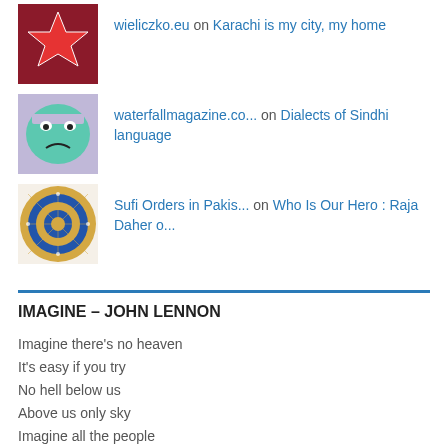wieliczko.eu on Karachi is my city, my home
waterfallmagazine.co... on Dialects of Sindhi language
Sufi Orders in Pakis... on Who Is Our Hero : Raja Daher o...
IMAGINE – JOHN LENNON
Imagine there's no heaven
It's easy if you try
No hell below us
Above us only sky
Imagine all the people
Living for today...
Imagine there's no countries
It isn't hard to do